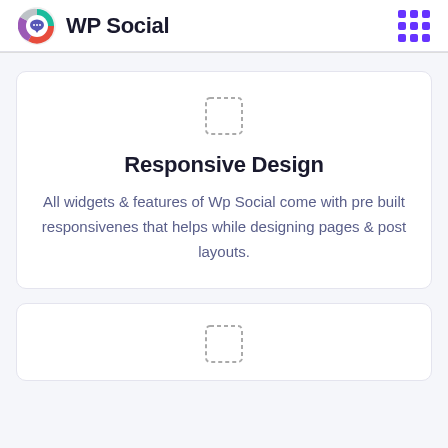WP Social
[Figure (logo): WP Social logo: circular icon with chat bubble and colored segments (teal, red, purple)]
Responsive Design
All widgets & features of Wp Social come with pre built responsivenes that helps while designing pages & post layouts.
[Figure (other): Dashed square placeholder icon]